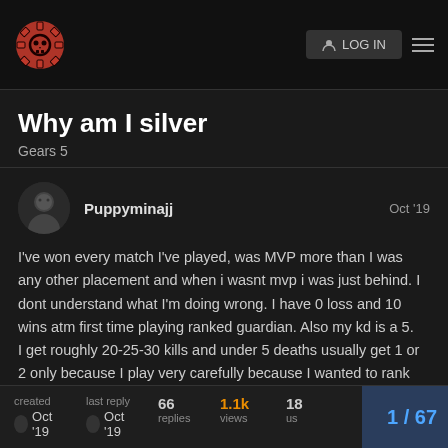Gears forum header with logo and login button
Why am I silver
Gears 5
Puppyminajj  Oct '19
I've won every match I've played, was MVP more than I was any other placement and when i wasnt mvp i was just behind. I dont understand what I'm doing wrong. I have 0 loss and 10 wins atm first time playing ranked guardian. Also my kd is a 5.
I get roughly 20-25-30 kills and under 5 deaths usually get 1 or 2 only because I play very carefully because I wanted to rank high in something and I still got silver idky
created Oct '19  last reply Oct '19  66 replies  1.1k views  18 users  1 / 67